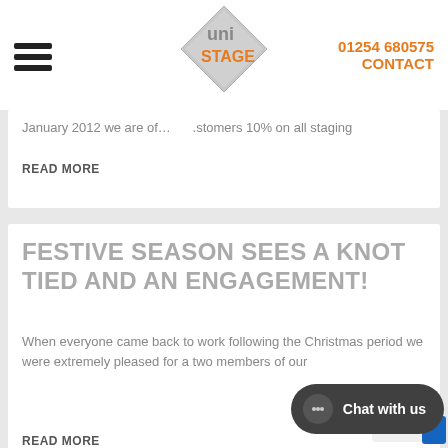01254 680575 | CONTACT | Uni Stage logo
January 2012 we are of... ...stomers 10% on all staging
READ MORE
FESTIVE SEASON SEES A KNOT TIED AND AN ENGAGEMENT!
When everyone came back to work following the Christmas period we were extremely pleased for a two members of our
READ MORE
SALVATION ARMY SOUTHPORT